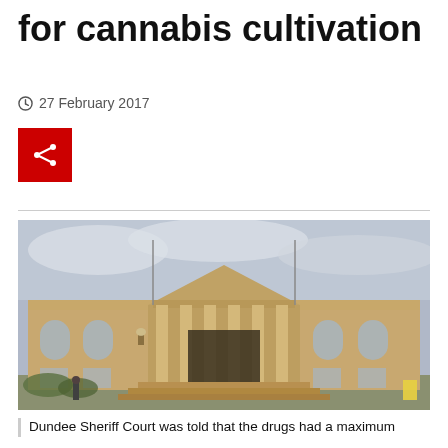for cannabis cultivation
27 February 2017
[Figure (photo): Red share button with share icon]
[Figure (photo): Photograph of Dundee Sheriff Court, a large neoclassical stone building with columns and a triangular pediment, under a cloudy sky]
Dundee Sheriff Court was told that the drugs had a maximum